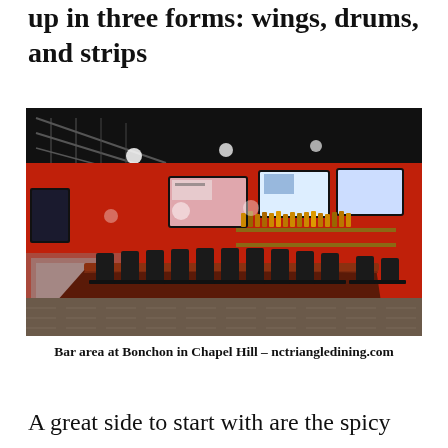up in three forms: wings, drums, and strips
[Figure (photo): Interior bar area of Bonchon restaurant in Chapel Hill. Bright red walls, dark ceiling with exposed metal trusses and track lighting. A curved bar counter with black bar stools lines the center. Multiple flat-screen TVs mounted on the red walls. Liquor bottles on shelves behind the bar. Tiled floor.]
Bar area at Bonchon in Chapel Hill – nctriangledining.com
A great side to start with are the spicy